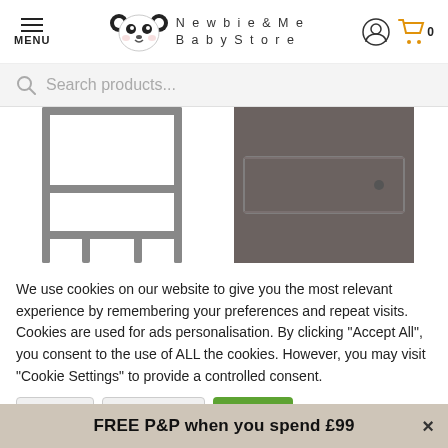MENU | Newbie & Me Baby Store | account icon | cart 0
Search products...
[Figure (photo): Two product images of a grey wooden baby furniture piece (changing table/shelf unit), shown from different angles on white background.]
We use cookies on our website to give you the most relevant experience by remembering your preferences and repeat visits. Cookies are used for ads personalisation. By clicking "Accept All", you consent to the use of ALL the cookies. However, you may visit "Cookie Settings" to provide a controlled consent.
FREE P&P when you spend £99